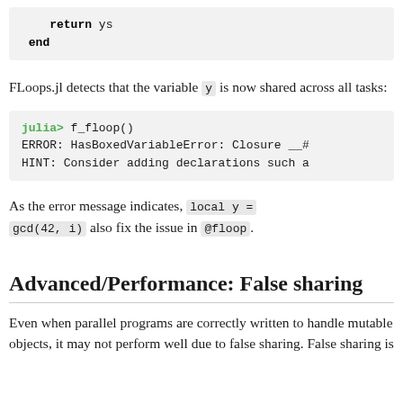return ys
end
FLoops.jl detects that the variable y is now shared across all tasks:
julia> f_floop()
ERROR: HasBoxedVariableError: Closure __#...
HINT: Consider adding declarations such a...
As the error message indicates, local y = gcd(42, i) also fix the issue in @floop.
Advanced/Performance: False sharing
Even when parallel programs are correctly written to handle mutable objects, it may not perform well due to false sharing. False sharing is...